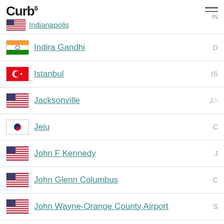Curb6 Indianapolis
Indira Gandhi — D
Istanbul — IS
Jacksonville — JA
Jeju — C
John F Kennedy — J
John Glenn Columbus — C
John Wayne-Orange County Airport — S